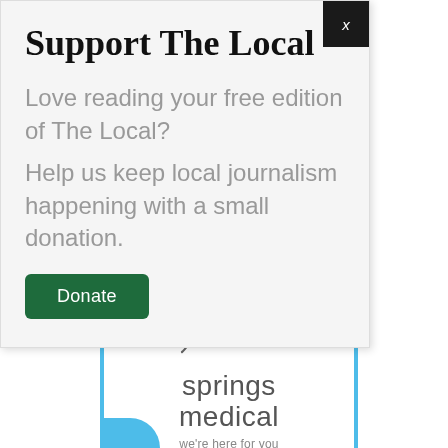Support The Local
Love reading your free edition of The Local?
Help us keep local journalism happening with a small donation.
Donate
[Figure (logo): Springs Medical logo with three interlocking circles/arcs in grey with green, blue, and pink dots, followed by text 'springs medical' and tagline 'we're here for you']